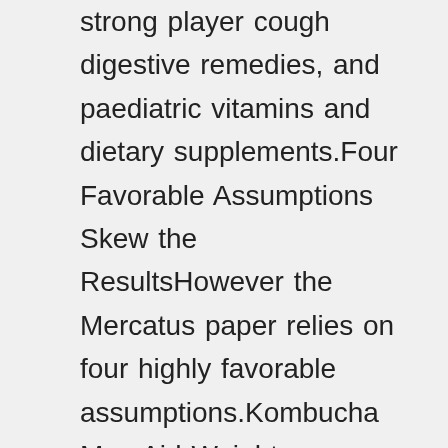strong player cough digestive remedies, and paediatric vitamins and dietary supplements.Four Favorable Assumptions Skew the ResultsHowever the Mercatus paper relies on four highly favorable assumptions.Kombucha May Aid Weight LossGreen tea contains compounds such as epigallocatechin-3-gallate (EGCG) particularly in the abdominal area.Provisional LicenseAs a home health agency applicant pay fees and submit supporting documentation in the form of policies and procedures that will demonstrate your compliance with for home health agencies before a license will be issued.Reporting Under the HHVBP Model for CY 2020 During the COVID-19 PHEIn the May 2020 COVID-19 IFC, we established a policy to align the HHVBP Model data submission